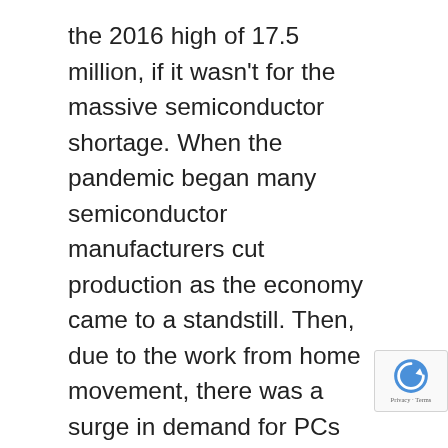the 2016 high of 17.5 million, if it wasn't for the massive semiconductor shortage. When the pandemic began many semiconductor manufacturers cut production as the economy came to a standstill. Then, due to the work from home movement, there was a surge in demand for PCs like laptops and other electronics, causing manufacturers to shift production from chips that go into cars to chips that go into computers and other electronics. As consumers began to return to normal activities the demand for cars improved and soon enough demand far outstripped supply, making the situation worse was car dealerships not having the inventory due to the chip shortage from semiconductor manufacturers. This resulted in a spike in prices for new and used cars. Used car prices were up as much as 42% in July (when